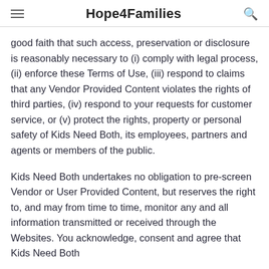Hope4Families
good faith that such access, preservation or disclosure is reasonably necessary to (i) comply with legal process, (ii) enforce these Terms of Use, (iii) respond to claims that any Vendor Provided Content violates the rights of third parties, (iv) respond to your requests for customer service, or (v) protect the rights, property or personal safety of Kids Need Both, its employees, partners and agents or members of the public.
Kids Need Both undertakes no obligation to pre-screen Vendor or User Provided Content, but reserves the right to, and may from time to time, monitor any and all information transmitted or received through the Websites. You acknowledge, consent and agree that Kids Need Both